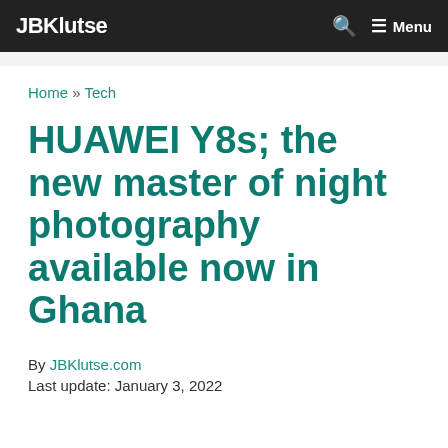JBKlutse  Menu
Home » Tech
HUAWEI Y8s; the new master of night photography available now in Ghana
By JBKlutse.com
Last update: January 3, 2022